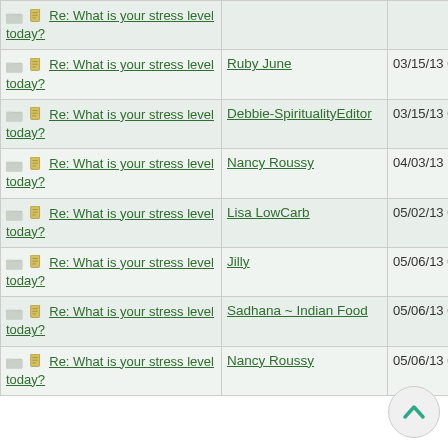| Topic | Author | Date |
| --- | --- | --- |
| Re: What is your stress level today? |  |  |
| Re: What is your stress level today? | Ruby June | 03/15/13 01:02 PM |
| Re: What is your stress level today? | Debbie-SpiritualityEditor | 03/15/13 03:54 PM |
| Re: What is your stress level today? | Nancy Roussy | 04/03/13 12:49 AM |
| Re: What is your stress level today? | Lisa LowCarb | 05/02/13 07:49 PM |
| Re: What is your stress level today? | Jilly | 05/06/13 01:48 AM |
| Re: What is your stress level today? | Sadhana ~ Indian Food | 05/06/13 07:20 AM |
| Re: What is your stress level today? | Nancy Roussy | 05/06/13 05:28 PM |